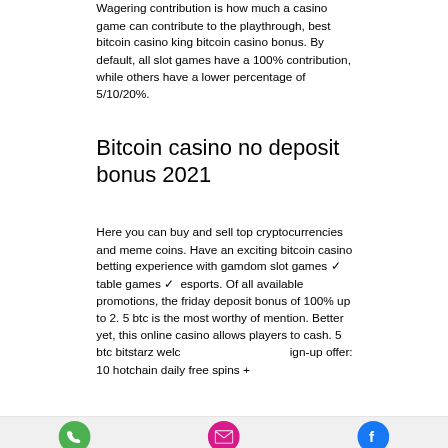Wagering contribution is how much a casino game can contribute to the playthrough, best bitcoin casino king bitcoin casino bonus. By default, all slot games have a 100% contribution, while others have a lower percentage of 5/10/20%.
Bitcoin casino no deposit bonus 2021
Here you can buy and sell top cryptocurrencies and meme coins. Have an exciting bitcoin casino betting experience with gamdom slot games ✓ table games ✓ esports. Of all available promotions, the friday deposit bonus of 100% up to 2. 5 btc is the most worthy of mention. Better yet, this online casino allows players to cash. 5 btc bitstarz welc… 5 btc p… ign-up offer: 10 hotchain daily free spins +